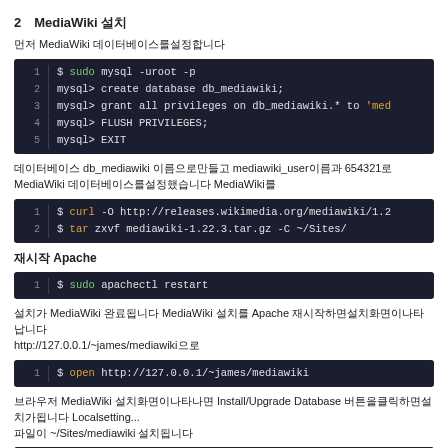2 MediaWiki 설치
먼저 MediaWiki 데이터베이스를 설정합니다
[Figure (screenshot): Terminal code block showing MySQL commands: sudo mysql -uroot -p, mysql> create database db_mediawiki;, mysql> grant all privileges on db_mediawiki.* to 'med..., mysql> FLUSH PRIVILEGES;, mysql> EXIT]
데이터베이스 db_mediawiki 이름으로 만들고 mediawiki_user이름과 654321로 MediaWiki 데이터베이스를 설정했습니다 MediaWiki를
[Figure (screenshot): Terminal code block: $ curl -O http://releases.wikimedia.org/mediawiki/1.2... and $ tar zxvf mediawiki-1.22.3.tar.gz -C ~/Sites/]
재시작 Apache
[Figure (screenshot): Terminal code block: $ sudo apachectl restart]
설치가 MediaWiki 완료됩니다 MediaWiki 설치를 Apache 재시작하면설치화면이나타납니다 http://127.0.0.1/~james/mediawiki으로
[Figure (screenshot): Terminal code block: $ open http://127.0.0.1/~james/mediawiki]
브라우저 MediaWiki 설치화면이나타나면 Install/Upgrade Database 버튼을클릭하면설치가됩니다 Localsetting... 파일이 ~/Sites/mediawiki 설치됩니다
[Figure (screenshot): Terminal code block: $ cp /path/to/Localsetting.php ~/Sites/mediawiki ...]